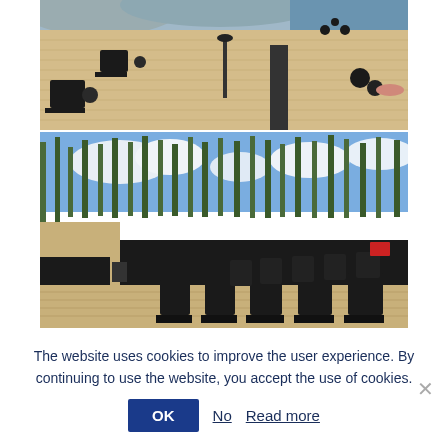[Figure (photo): Aerial/overhead view of a wooden deck terrace with black outdoor chairs and small tables, rocky shoreline visible in background]
[Figure (photo): Ground-level view of a wooden terrace with rows of black outdoor chairs, tall pine trees and blue sky in the background, dark wooden building facade visible]
The website uses cookies to improve the user experience. By continuing to use the website, you accept the use of cookies.